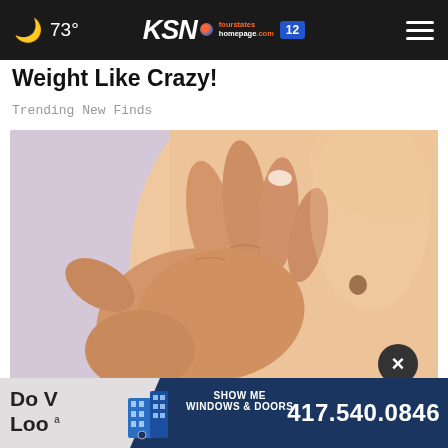73° | KSN fourstates homepage .com 12
Weight Like Crazy!
Trending New Finds
[Figure (photo): Close-up photo of a hand touching or examining a mole on someone's skin, with a circular close/dismiss button in the lower right corner.]
[Figure (infographic): Advertisement banner: 'Do W... Loo...' text on left with Show Me Windows & Doors logo and phone number 417.540.0846]